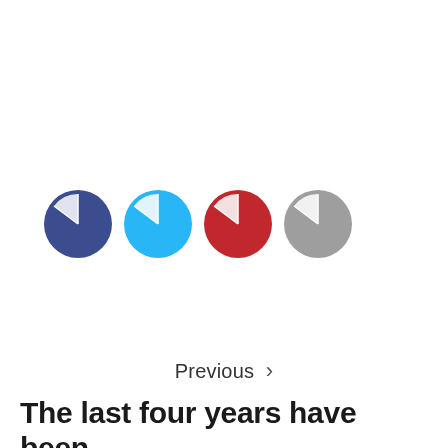[Figure (other): Four colored circles arranged in a row: dark blue, cyan/light blue, red, and gray. Each circle has a small white notch or slice cut from it near the top-left, suggesting pie chart or donut indicators.]
Previous >
The last four years have been